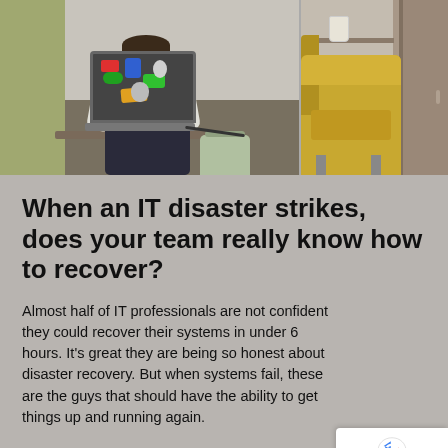[Figure (photo): Split photo: left side shows a stressed person sitting at a table with a sticker-covered MacBook laptop, leaning head on hand. Right side shows an office interior with yellow chair and a door.]
When an IT disaster strikes, does your team really know how to recover?
Almost half of IT professionals are not confident they could recover their systems in under 6 hours. It's great they are being so honest about disaster recovery. But when systems fail, these are the guys that should have the ability to get things up and running again.